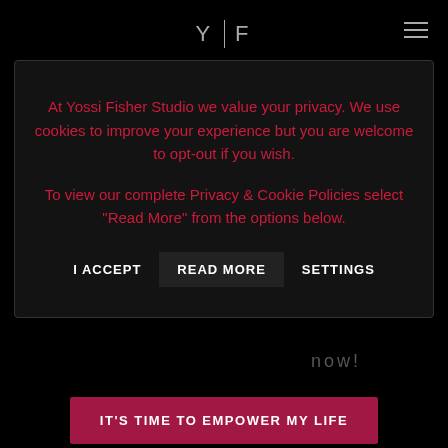Y | F
At Yossi Fisher Studio we value your privacy. We use cookies to improve your experience but you are welcome to opt-out if you wish.
To view our complete Privacy & Cookie Policies select "Read More" from the options below.
I ACCEPT   READ MORE   SETTINGS
now!
IT'S TIME TO EMPOWER MY LIFE